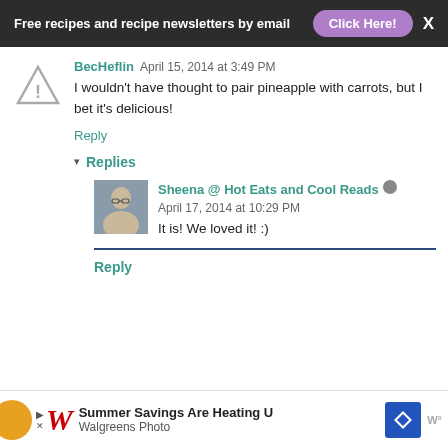Free recipes and recipe newsletters by email  Click Here!  X
BecHeflin  April 15, 2014 at 3:49 PM
I wouldn't have thought to pair pineapple with carrots, but I bet it's delicious!
Reply
▾ Replies
Sheena @ Hot Eats and Cool Reads  April 17, 2014 at 10:29 PM
It is! We loved it! :)
Reply
[Figure (screenshot): Walgreens Photo advertisement banner at bottom: Summer Savings Are Heating U... Walgreens Photo with logo and navigation icon]